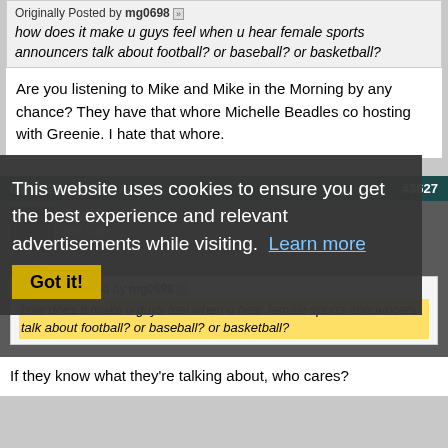Originally Posted by mg0698
how does it make u guys feel when u hear female sports announcers talk about football? or baseball? or basketball?
Are you listening to Mike and Mike in the Morning by any chance? They have that whore Michelle Beadles co hosting with Greenie. I hate that whore.
08-11-2010, 06:52 AM
#3627
Swiiftx
This website uses cookies to ensure you get the best experience and relevant advertisements while visiting. Learn more
Got it!
Quote: Originally Posted by mg0698
how does it make u guys feel when u hear female sports announcers talk about football? or baseball? or basketball?
If they know what they're talking about, who cares?